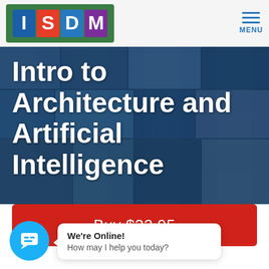[Figure (logo): ISDM logo with colored letter tiles (I=blue, S=red, D=blue, M=purple) on green border background]
[Figure (other): Hamburger menu icon with three horizontal blue lines and MENU label]
[Figure (photo): Dark blue tinted collage of architectural and outdoor photos as hero background]
Intro to Architecture and Artificial Intelligence
Buy $32.95
[Figure (other): Blue circular chat button with speech bubble icon]
We're Online! How may I help you today?